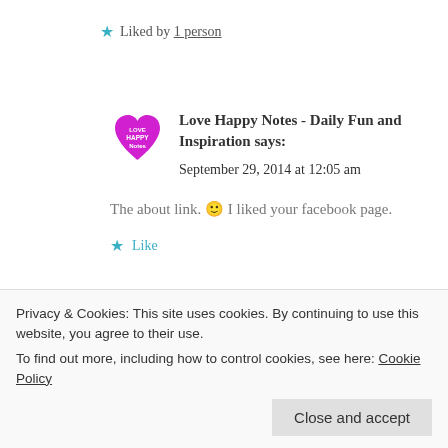★ Liked by 1 person
Love Happy Notes - Daily Fun and Inspiration says:
September 29, 2014 at 12:05 am
The about link. 🙂 I liked your facebook page.
★ Like
ramonprds21 says:
Privacy & Cookies: This site uses cookies. By continuing to use this website, you agree to their use.
To find out more, including how to control cookies, see here: Cookie Policy
Close and accept